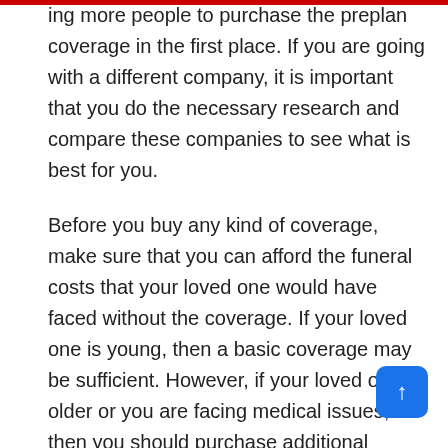ing more people to purchase the preplan coverage in the first place. If you are going with a different company, it is important that you do the necessary research and compare these companies to see what is best for you.
Before you buy any kind of coverage, make sure that you can afford the funeral costs that your loved one would have faced without the coverage. If your loved one is young, then a basic coverage may be sufficient. However, if your loved one is older or you are facing medical issues, then you should purchase additional coverage so that you will not have to pay out of pocket if there are any complications during the funeral. You may even have to buy an indemnity plan for your preplan or